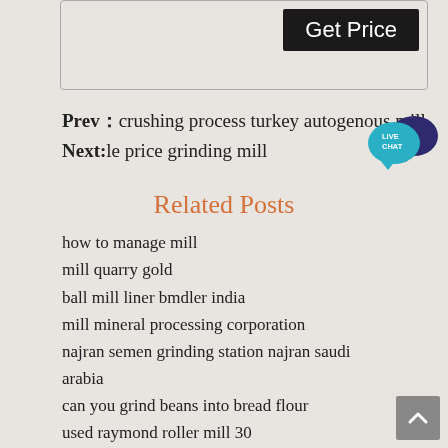[Figure (other): Input box with Get Price button]
Prev：crushing process turkey autogenous mill
Next:le price grinding mill
Related Posts
how to manage mill
mill quarry gold
ball mill liner bmdler india
mill mineral processing corporation
najran semen grinding station najran saudi arabia
can you grind beans into bread flour
used raymond roller mill 30
mill mini gold processing
transmission ratio calculation in ball mill
sfsp63x100 hammer mill crusher
heavy mineral beneficiation mill